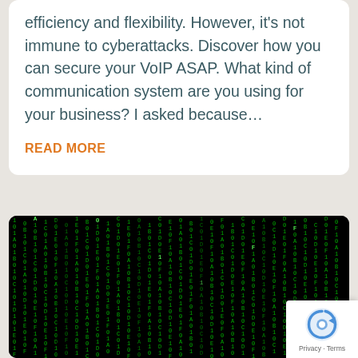efficiency and flexibility. However, it's not immune to cyberattacks. Discover how you can secure your VoIP ASAP. What kind of communication system are you using for your business? I asked because…
READ MORE
[Figure (photo): Matrix-style green binary code cascading on a black background, representing cybersecurity or hacking concept.]